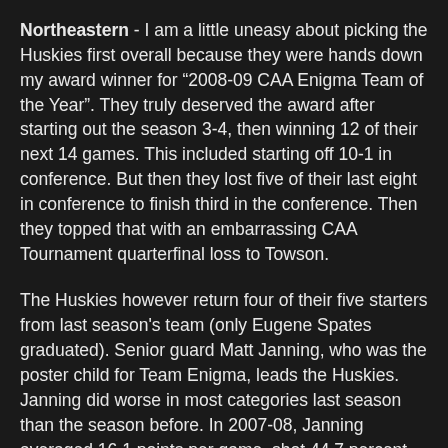Northeastern - I am a little uneasy about picking the Huskies first overall because they were hands down my award winner for "2008-09 CAA Enigma Team of the Year". They truly deserved the award after starting out the season 3-4, then winning 12 of their next 14 games. This included starting off 10-1 in conference. But then they lost five of their last eight in conference to finish third in the conference. Then they topped that with an embarrassing CAA Tournament quarterfinal loss to Towson.
The Huskies however return four of their five starters from last season's team (only Eugene Spates graduated). Senior guard Matt Janning, who was the poster child for Team Enigma, leads the Huskies. Janning did worse in most categories last season than the season before. In 2007-08, Janning averaged 16.1 points per game, shot 44.7 percent from the field, shot 37.6 percent from beyond the arc, and shot 81.2 percent from the free throw line. In 2008-09, Janning averaged 14.3 points per game, shot 40.6 percent from the field, shot 32.3 percent from beyond the arc, and shot 81.2 percent from the free throw line. Yet somehow, he